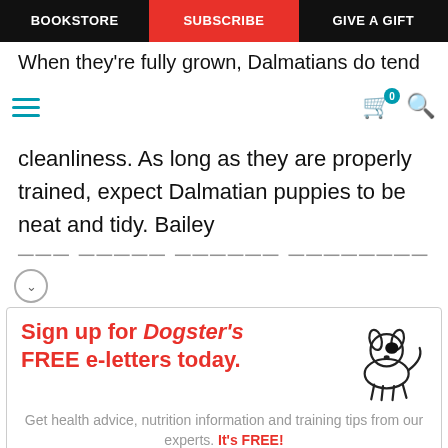BOOKSTORE | SUBSCRIBE | GIVE A GIFT
When they're fully grown, Dalmatians do tend to shed
cleanliness. As long as they are properly trained, expect Dalmatian puppies to be neat and tidy. Bailey [cut off]
[Figure (infographic): Sign up for Dogster's FREE e-letters today. Get health advice, nutrition information and training tips from our experts. It's FREE! Email input field and YES! SIGN ME UP button. Dog illustration on the right.]